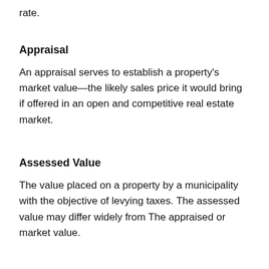rate.
Appraisal
An appraisal serves to establish a property's market value—the likely sales price it would bring if offered in an open and competitive real estate market.
Assessed Value
The value placed on a property by a municipality with the objective of levying taxes. The assessed value may differ widely from The appraised or market value.